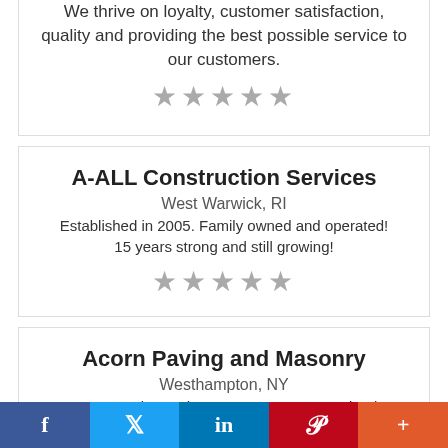We thrive on loyalty, customer satisfaction, quality and providing the best possible service to our customers.
★★★★★
A-ALL Construction Services
West Warwick, RI
Established in 2005. Family owned and operated! 15 years strong and still growing!
★★★★★
Acorn Paving and Masonry
Westhampton, NY
At Acorn Paving and Masonry, we are committed to providing the best assistance regarding block paving in New York.
★★★★★
f  🐦  in  P  +